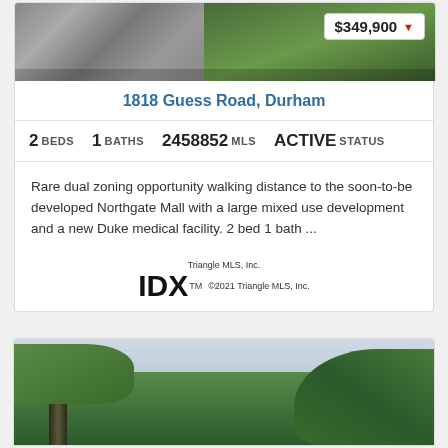[Figure (photo): Top portion of property photo showing steps on left and greenery/bushes on right, with price badge showing $349,900 and red down arrow]
1818 Guess Road, Durham
2 BEDS  1 BATHS  2458852 MLS  ACTIVE STATUS
Rare dual zoning opportunity walking distance to the soon-to-be developed Northgate Mall with a large mixed use development and a new Duke medical facility. 2 bed 1 bath ...
[Figure (logo): Triangle MLS, Inc. IDX logo with copyright 2021 Triangle MLS, Inc.]
[Figure (photo): Exterior property photo showing trees and sky]